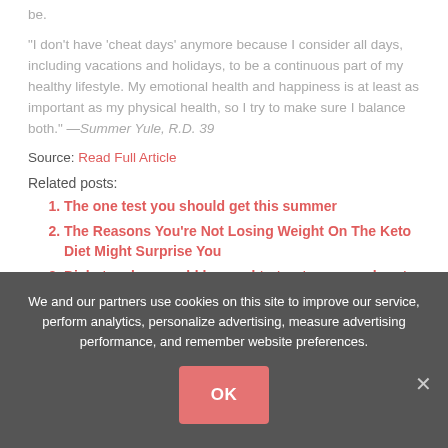be.
“I don’t have ‘cheat days’ anymore because I consider all days, including vacations and holidays, to be a continuous part of my healthy lifestyle. My emotional health and happiness is at least as important as my physical health, so I try to make sure I balance both.” —Summer Yule, R.D. 39
Source: Read Full Article
Related posts:
The one test you should get this summer
The Reasons You’re Not Losing Weight On The Keto Diet Might Surprise You
Diabetes drug could be used to treat common heart failure syndrome
Alzheimer’s can dementia be transmitted to other
We and our partners use cookies on this site to improve our service, perform analytics, personalize advertising, measure advertising performance, and remember website preferences.